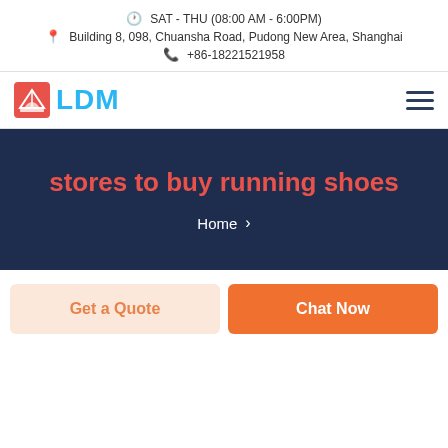SAT - THU (08:00 AM - 6:00PM)
Building 8, 098, Chuansha Road, Pudong New Area, Shanghai
+86-18221521958
[Figure (logo): LDM logo with red sailboat icon and blue LDM text, with hamburger menu icon on right]
stores to buy running shoes
Home >
Get a Quote
Chat Now